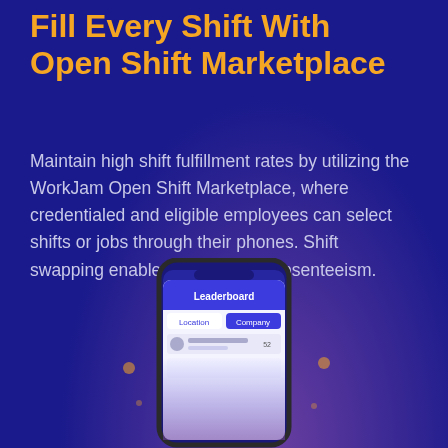Fill Every Shift With Open Shift Marketplace
Maintain high shift fulfillment rates by utilizing the WorkJam Open Shift Marketplace, where credentialed and eligible employees can select shifts or jobs through their phones. Shift swapping enablement reduces absenteeism.
[Figure (screenshot): A smartphone showing a Leaderboard app screen with Location and Company tabs visible, partially cropped at the bottom of the page.]